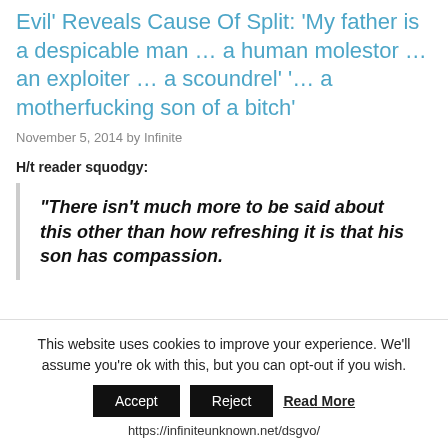Evil' Reveals Cause Of Split: 'My father is a despicable man … a human molestor … an exploiter … a scoundrel' '… a motherfucking son of a bitch'
November 5, 2014 by Infinite
H/t reader squodgy:
“There isn’t much more to be said about this other than how refreshing it is that his son has compassion.
This website uses cookies to improve your experience. We'll assume you're ok with this, but you can opt-out if you wish.
Accept  Reject  Read More
https://infiniteunknown.net/dsgvo/